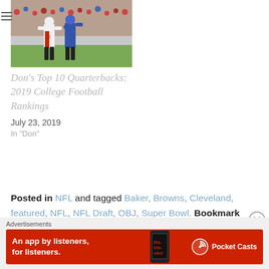[Figure (photo): Football players running on the field, two players in white uniforms with jersey number 90 visible, opposing player in blue/red uniform]
Don's Top 10 Quarterbacks: 2019 College Football Rankings
July 23, 2019
In "Don"
Posted in NFL and tagged Baker, Browns, Cleveland, featured, NFL, NFL Draft, OBJ, Super Bowl. Bookmark the permalink.
Advertisements
[Figure (infographic): Pocket Casts advertisement banner: 'An app by listeners, for listeners.' with red background, phone image showing 'Distributed' text, and Pocket Casts logo]